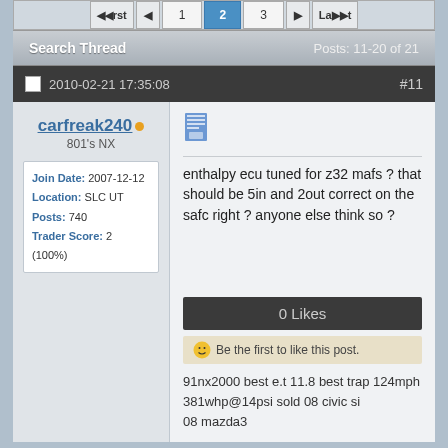First  ◄  1  2  3  ► Last
Search Thread   Posts: 11-20 of 21
2010-02-21 17:35:08   #11
carfreak240
801's NX
Join Date: 2007-12-12
Location: SLC UT
Posts: 740
Trader Score: 2 (100%)
enthalpy ecu tuned for z32 mafs ? that should be 5in and 2out correct on the safc right ? anyone else think so ?
0 Likes
Be the first to like this post.
91nx2000 best e.t 11.8 best trap 124mph 381whp@14psi sold 08 civic si 08 mazda3